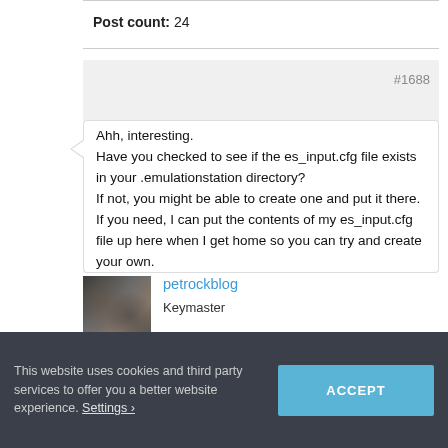Post count: 24
#1688
Ahh, interesting.
Have you checked to see if the es_input.cfg file exists in your .emulationstation directory?
If not, you might be able to create one and put it there.
If you need, I can put the contents of my es_input.cfg file up here when I get home so you can try and create your own.
[Figure (photo): User avatar thumbnail showing mechanical/technical parts in dark tones]
petrockblog
Keymaster
This website uses cookies and third party services to offer you a better website experience. Settings ❯
ACCEPT